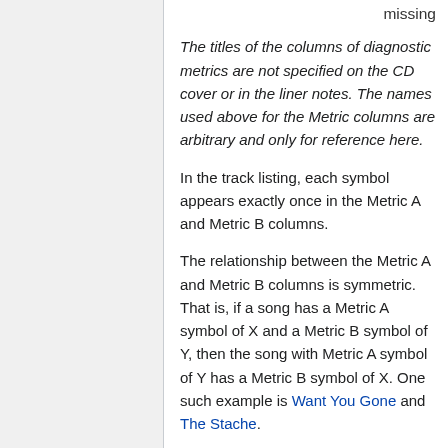missing
The titles of the columns of diagnostic metrics are not specified on the CD cover or in the liner notes. The names used above for the Metric columns are arbitrary and only for reference here.
In the track listing, each symbol appears exactly once in the Metric A and Metric B columns.
The relationship between the Metric A and Metric B columns is symmetric. That is, if a song has a Metric A symbol of X and a Metric B symbol of Y, then the song with Metric A symbol of Y has a Metric B symbol of X. One such example is Want You Gone and The Stache.
The track listing on the label of the Outdated Technology Platform has the symbol from the Metric A column to the